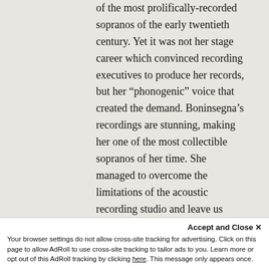of the most prolifically-recorded sopranos of the early twentieth century. Yet it was not her stage career which convinced recording executives to produce her records, but her “phonogenic” voice that created the demand. Boninsegna’s recordings are stunning, making her one of the most collectible sopranos of her time. She managed to overcome the limitations of the acoustic recording studio and leave us records that have some of the presence of live recordings from the stage. According to Fred Gaisberg, the impresario for the Gramophone Company, Boninsegna’s “voice was so smooth and velvety and of such even registers that recording was no effort; the results obtained were always thoroughly
Your browser settings do not allow cross-site tracking for advertising. Click on this page to allow AdRoll to use cross-site tracking to tailor ads to you. Learn more or opt out of this AdRoll tracking by clicking here. This message only appears once.